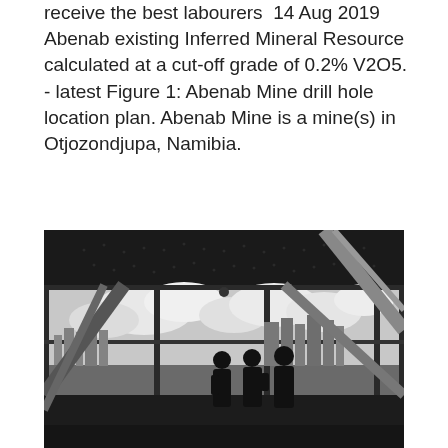receive the best labourers  14 Aug 2019 Abenab existing Inferred Mineral Resource calculated at a cut-off grade of 0.2% V2O5. - latest Figure 1: Abenab Mine drill hole location plan. Abenab Mine is a mine(s) in Otjozondjupa, Namibia.
Mysql stored procedure
[Figure (photo): Black and white photograph taken from a high-rise building interior looking through large floor-to-ceiling windows. Three silhouetted figures stand against the glass overlooking a city skyline with clouds. Structural beams cross diagonally in the foreground. The ceiling has a perforated pattern.]